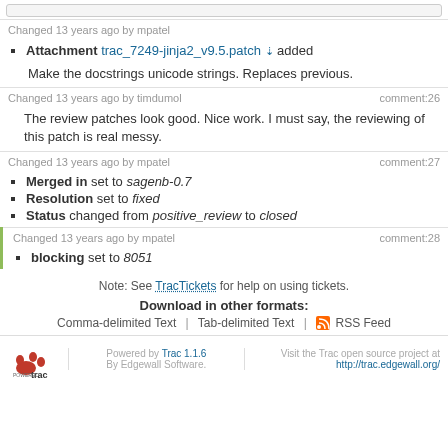[top bar input area]
Changed 13 years ago by mpatel
Attachment trac_7249-jinja2_v9.5.patch added
Make the docstrings unicode strings. Replaces previous.
Changed 13 years ago by timdumol  comment:26
The review patches look good. Nice work. I must say, the reviewing of this patch is real messy.
Changed 13 years ago by mpatel  comment:27
Merged in set to sagenb-0.7
Resolution set to fixed
Status changed from positive_review to closed
Changed 13 years ago by mpatel  comment:28
blocking set to 8051
Note: See TracTickets for help on using tickets.
Download in other formats:
Comma-delimited Text | Tab-delimited Text | RSS Feed
Powered by Trac 1.1.6 By Edgewall Software. Visit the Trac open source project at http://trac.edgewall.org/